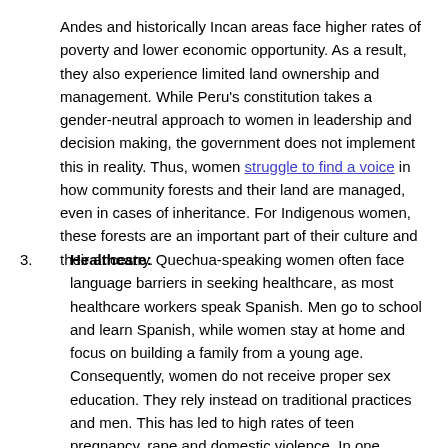Andes and historically Incan areas face higher rates of poverty and lower economic opportunity. As a result, they also experience limited land ownership and management. While Peru's constitution takes a gender-neutral approach to women in leadership and decision making, the government does not implement this in reality. Thus, women struggle to find a voice in how community forests and their land are managed, even in cases of inheritance. For Indigenous women, these forests are an important part of their culture and their ancestry.
3. Healthcare: Quechua-speaking women often face language barriers in seeking healthcare, as most healthcare workers speak Spanish. Men go to school and learn Spanish, while women stay at home and focus on building a family from a young age. Consequently, women do not receive proper sex education. They rely instead on traditional practices and men. This has led to high rates of teen pregnancy, rape and domestic violence. In one survey, 44% of Quechua women reported having been raped. Similarly, researchers indicate that almost one-third of girls ages 15 to 19 have at least one child.